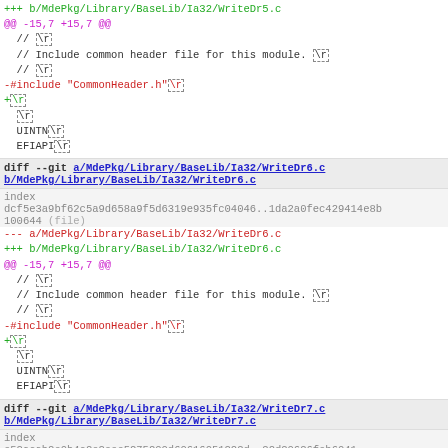+++ b/MdePkg/Library/BaseLib/Ia32/WriteDr5.c
@@ -15,7 +15,7 @@
  // \r
  // Include common header file for this module. \r
  // \r
-#include "CommonHeader.h" \r
+ \r
  \r
  UINTN \r
  EFIAPI \r
diff --git a/MdePkg/Library/BaseLib/Ia32/WriteDr6.c b/MdePkg/Library/BaseLib/Ia32/WriteDr6.c
index
dcf5e3a9bf62c5a9d658a9f5d6319e935fc04046..1da2a0fec429414e8b
100644 (file)
--- a/MdePkg/Library/BaseLib/Ia32/WriteDr6.c
+++ b/MdePkg/Library/BaseLib/Ia32/WriteDr6.c
@@ -15,7 +15,7 @@
  // \r
  // Include common header file for this module. \r
  // \r
-#include "CommonHeader.h" \r
+ \r
  \r
  UINTN \r
  EFIAPI \r
diff --git a/MdePkg/Library/BaseLib/Ia32/WriteDr7.c b/MdePkg/Library/BaseLib/Ia32/WriteDr7.c
index
e52acab2e0b4c2e2eee5275200d60616051222d..22d20626feb6041